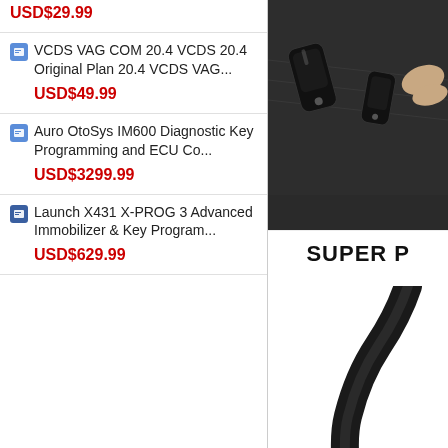USD$29.99
VCDS VAG COM 20.4 VCDS 20.4 Original Plan 20.4 VCDS VAG...
USD$49.99
Auro OtoSys IM600 Diagnostic Key Programming and ECU Co...
USD$3299.99
Launch X431 X-PROG 3 Advanced Immobilizer & Key Program...
USD$629.99
[Figure (photo): Close-up photo of automotive key fobs/transponders being held, dark background]
SUPER P
[Figure (photo): Partial view of a dark rounded cable or device on white background]